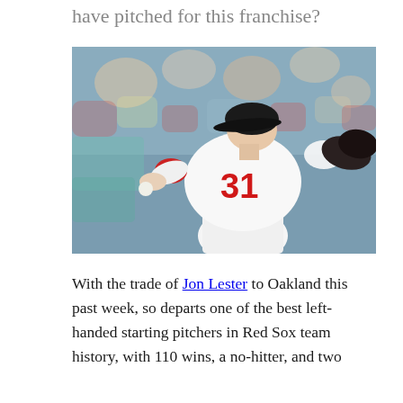have pitched for this franchise?
[Figure (photo): Baseball pitcher wearing Red Sox white uniform with number 31, winding up to pitch, with blurred crowd in background]
With the trade of Jon Lester to Oakland this past week, so departs one of the best left-handed starting pitchers in Red Sox team history, with 110 wins, a no-hitter, and two